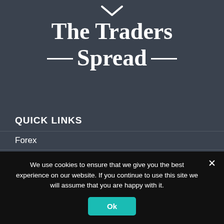[Figure (logo): The Traders Spread logo with decorative dashes on either side of 'Spread']
QUICK LINKS
Forex
Commodities
Indices
Cryptocurrencies
We use cookies to ensure that we give you the best experience on our website. If you continue to use this site we will assume that you are happy with it.